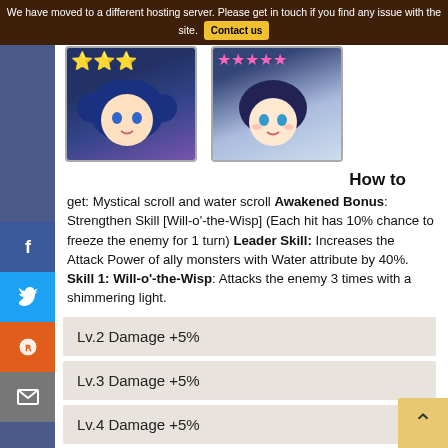We have moved to a different hosting server. Please get in touch if you find any issue with the site. Contact us
[Figure (illustration): Two anime-style game character images side by side. Left character has 3 gold stars and blue hair. Right character has 4-5 pink stars and similar blue hair, awakened version.]
How to
get: Mystical scroll and water scroll Awakened Bonus: Strengthen Skill [Will-o'-the-Wisp] (Each hit has 10% chance to freeze the enemy for 1 turn) Leader Skill: Increases the Attack Power of ally monsters with Water attribute by 40%. Skill 1: Will-o'-the-Wisp: Attacks the enemy 3 times with a shimmering light.
Lv.2 Damage +5%
Lv.3 Damage +5%
Lv.4 Damage +5%